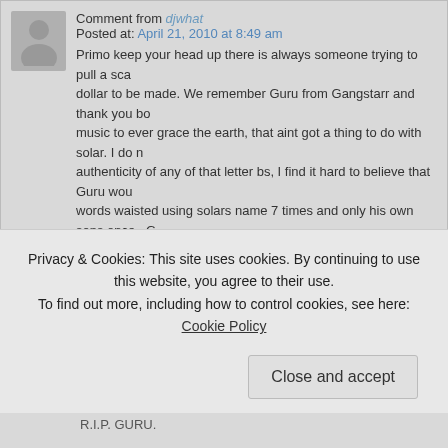Comment from djwhat
Posted at: April 21, 2010 at 8:49 am
Primo keep your head up there is always someone trying to pull a sca... dollar to be made. We remember Guru from Gangstarr and thank you bo... music to ever grace the earth, that aint got a thing to do with solar. I do n... authenticity of any of that letter bs, I find it hard to believe that Guru wou... words waisted using solars name 7 times and only his own sons once.. G... through Primo simple as that.. solar I wouldnt be suprised if you where w... even on here claiming to be someone else dissing Primo just to get rep.... went out from family or a lawyer and been about the music and us but it ... scandously, and sounded all wrong. Keep the records spinning Primo. W...
Reply
Comment from chief
Posted at: April 21, 2010 at 9:01 am
RIP Guru
Condolences to his family and dj premier the n°1!!
Privacy & Cookies: This site uses cookies. By continuing to use this website, you agree to their use.
To find out more, including how to control cookies, see here: Cookie Policy
Close and accept
R.I.P. GURU.